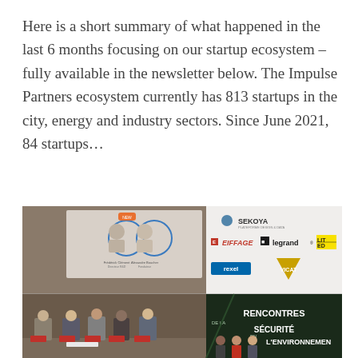Here is a short summary of what happened in the last 6 months focusing on our startup ecosystem – fully available in the newsletter below. The Impulse Partners ecosystem currently has 813 startups in the city, energy and industry sectors. Since June 2021, 84 startups…
[Figure (photo): A composite of two event photos. Top half shows a conference presentation slide on stage with logos of SEKOYA, EIFFAGE, legrand, LIT ED, REXEL, VICAT and two speaker portraits. Bottom half shows a panel discussion on stage with five speakers seated in red chairs, and a screen reading 'RENCONTRES DE LA SÉCURITÉ EN L'ENVIRONNEMENT'.]